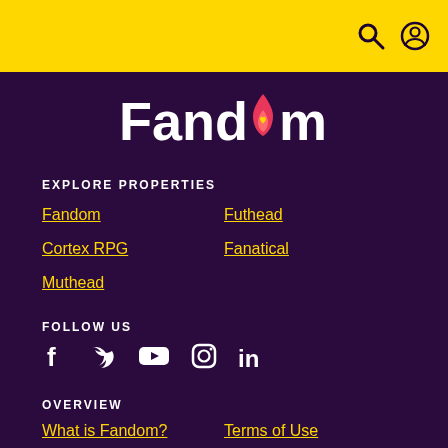[Figure (logo): Fandom logo with flame/heart icon on dark purple background]
EXPLORE PROPERTIES
Fandom
Futhead
Cortex RPG
Fanatical
Muthead
FOLLOW US
[Figure (illustration): Social media icons: Facebook, Twitter, YouTube, Instagram, LinkedIn]
OVERVIEW
What is Fandom?
Terms of Use